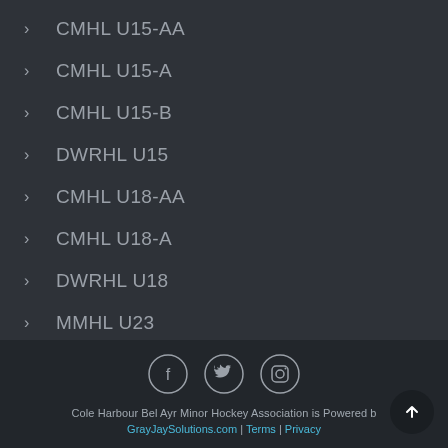CMHL U15-AA
CMHL U15-A
CMHL U15-B
DWRHL U15
CMHL U18-AA
CMHL U18-A
DWRHL U18
MMHL U23
Cole Harbour Bel Ayr Minor Hockey Association is Powered by GrayJaySolutions.com | Terms | Privacy